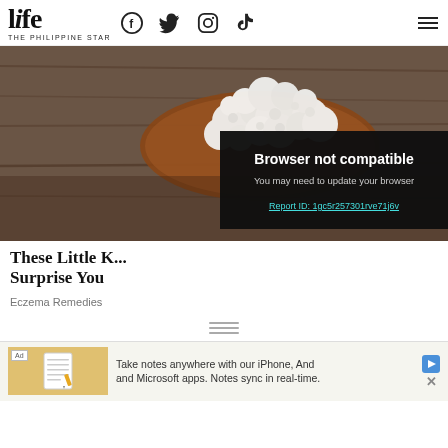life THE PHILIPPINE STAR
[Figure (photo): Kefir grains on a wooden spoon against a rustic wood background]
[Figure (screenshot): Browser error overlay: 'Browser not compatible. You may need to update your browser. Report ID: 1gc5r257301rve71j6v']
These Little K... Surprise You
Eczema Remedies
[Figure (other): Scroll more indicator — three horizontal lines]
[Figure (other): Advertisement: Take notes anywhere with our iPhone, And... and Microsoft apps. Notes sync in real-time.]